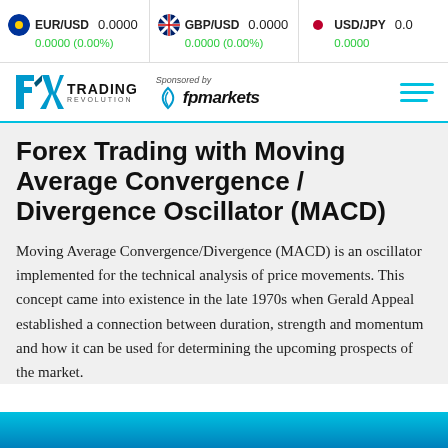EUR/USD 0.0000 0.0000 (0.00%) | GBP/USD 0.0000 0.0000 (0.00%) | USD/JPY 0.00 0.0000
[Figure (logo): FX Trading Revolution logo with 'Sponsored by fpmarkets' and hamburger menu icon]
Forex Trading with Moving Average Convergence / Divergence Oscillator (MACD)
Moving Average Convergence/Divergence (MACD) is an oscillator implemented for the technical analysis of price movements. This concept came into existence in the late 1970s when Gerald Appeal established a connection between duration, strength and momentum and how it can be used for determining the upcoming prospects of the market.